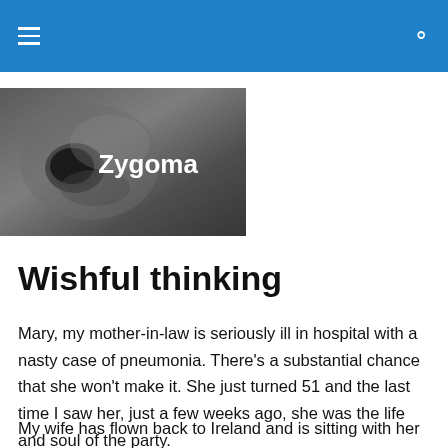≡  🔍
[Figure (photo): Black and white image of a skull bone with the word 'Zygoma' in white bold text overlaid on the right side]
Wishful thinking
Mary, my mother-in-law is seriously ill in hospital with a nasty case of pneumonia. There's a substantial chance that she won't make it. She just turned 51 and the last time I saw her, just a few weeks ago, she was the life and soul of the party.
My wife has flown back to Ireland and is sitting with her mum, who the medical staff are trying to stabilise enough